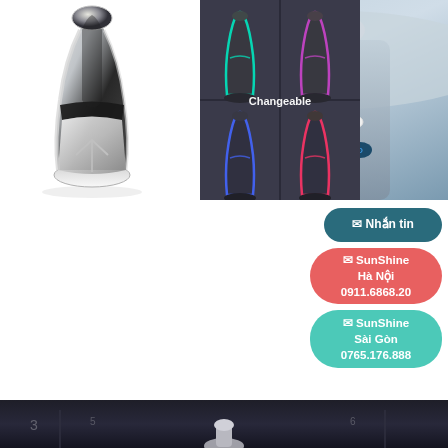[Figure (photo): Car interior showing center console with gear shift knob and dashboard controls, and a white car USB charger accessory]
[Figure (photo): Automotive gear shift knob product photo on white background - chrome and black leather style]
[Figure (photo): Four color variants of LED gear shift knob (teal, purple, blue, pink/red) with Changeable text overlay on dark background]
✉ Nhắn tin
✉ SunShine Hà Nội
0911.6868.20
✉ SunShine Sài Gòn
0765.176.888
[Figure (photo): Dark interior car photo showing gear shift area from below/side angle]